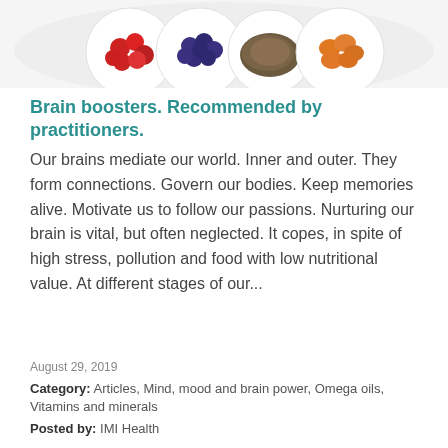[Figure (photo): Overhead view of small bowls containing various foods: red tomatoes or cherries, blueberries, dried herbs/spices, and orange dried apricots or similar, arranged on a white surface.]
Brain boosters. Recommended by practitioners.
Our brains mediate our world. Inner and outer. They form connections. Govern our bodies. Keep memories alive. Motivate us to follow our passions. Nurturing our brain is vital, but often neglected. It copes, in spite of high stress, pollution and food with low nutritional value. At different stages of our...
August 29, 2019
Category: Articles, Mind, mood and brain power, Omega oils, Vitamins and minerals
Posted by:  IMI Health